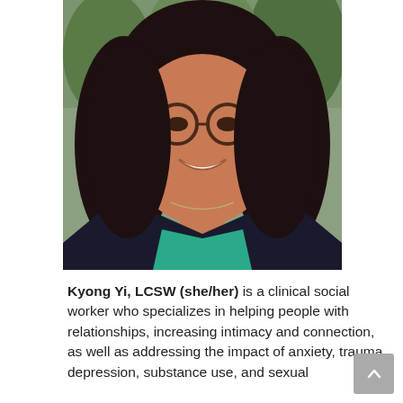[Figure (photo): Portrait photo of Kyong Yi, LCSW — a woman with dark shoulder-length hair, round tortoiseshell glasses, and gold earrings, smiling, wearing a teal top and dark blazer, photographed outdoors with green foliage in the background.]
Kyong Yi, LCSW (she/her) is a clinical social worker who specializes in helping people with relationships, increasing intimacy and connection, as well as addressing the impact of anxiety, trauma, depression, substance use, and sexual identity questions in the...